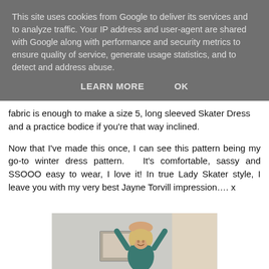This site uses cookies from Google to deliver its services and to analyze traffic. Your IP address and user-agent are shared with Google along with performance and security metrics to ensure quality of service, generate usage statistics, and to detect and address abuse.
LEARN MORE   OK
fabric is enough to make a size 5, long sleeved Skater Dress and a practice bodice if you're that way inclined.
Now that I've made this once, I can see this pattern being my go-to winter dress pattern.  It's comfortable, sassy and SSOOO easy to wear, I love it! In true Lady Skater style, I leave you with my very best Jayne Torvill impression…. x
[Figure (photo): A woman with blonde hair posing with her arms raised above her head, wearing a teal/dark green long-sleeved dress, smiling at the camera.]